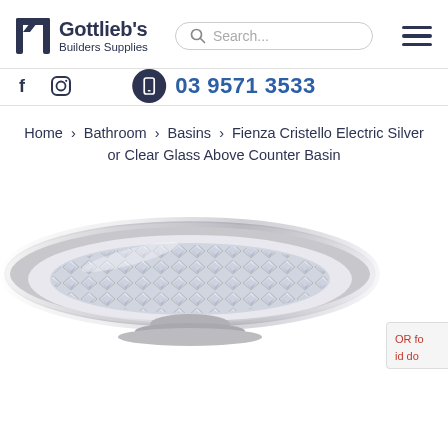[Figure (logo): Gottlieb's Builders Supplies logo with stylized 'G' icon and company name in dark navy text]
[Figure (screenshot): Search bar with rounded border and search icon, placeholder text 'Search...']
[Figure (infographic): Hamburger menu icon (three horizontal lines) in dark navy]
[Figure (infographic): Facebook and Instagram social media icons on left side]
03 9571 3533
Home › Bathroom › Basins › Fienza Cristello Electric Silver or Clear Glass Above Counter Basin
[Figure (photo): Crystal glass above counter basin with diamond-cut faceted pattern interior and silver/chrome rim, photographed from slight above angle on white background. Partial red sidebar label on right edge showing 'OR fo' and 'id do'.]